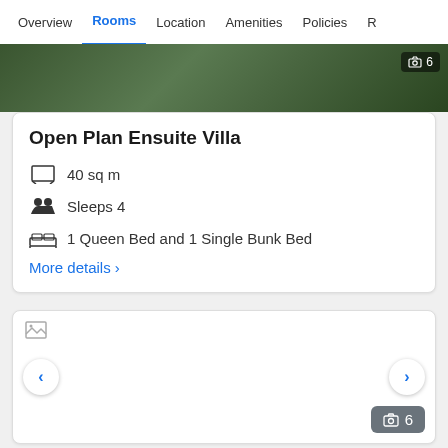Overview | Rooms | Location | Amenities | Policies | R
[Figure (photo): Outdoor photo of a villa with deck/stairs and tropical plants]
Open Plan Ensuite Villa
40 sq m
Sleeps 4
1 Queen Bed and 1 Single Bunk Bed
More details >
[Figure (photo): Room photo (broken/loading image) with navigation arrows and photo counter showing 6]